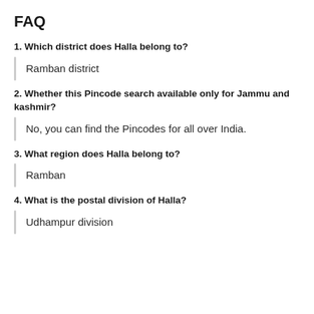FAQ
1. Which district does Halla belong to?
Ramban district
2. Whether this Pincode search available only for Jammu and kashmir?
No, you can find the Pincodes for all over India.
3. What region does Halla belong to?
Ramban
4. What is the postal division of Halla?
Udhampur division